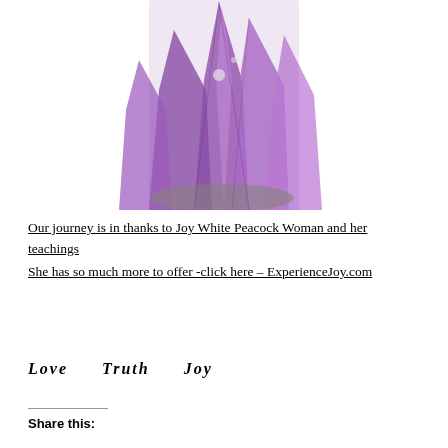[Figure (photo): A cluster of purple amethyst crystals with multiple pointed facets, photographed on a white background.]
Our journey is in thanks to Joy White Peacock Woman and her teachings
She has so much more to offer -click here – ExperienceJoy.com
Love      Truth      Joy
Share this: